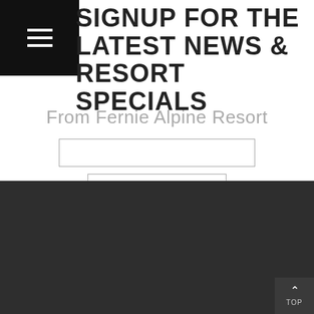SIGNUP FOR THE LATEST NEWS & RESORT SPECIALS
From Fernie Alpine Resort
SIGN UP
[Figure (logo): Lizard Creek Lodge logo with lizard illustration and text 'at Fernie Alpine Resort', white on dark background]
CONTACT US
Reservations: 1 (877) 228-1948
Box 6032, 5346 Highline Drive